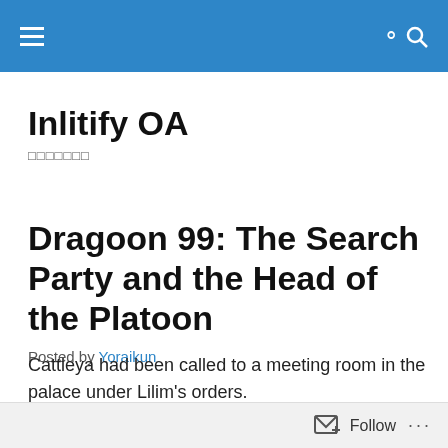Inlitify OA
Inlitify OA
□□□□□□□
Dragoon 99: The Search Party and the Head of the Platoon
Posted by Yoraikun
Cattleya had been called to a meeting room in the palace under Lilim's orders.
Follow ...